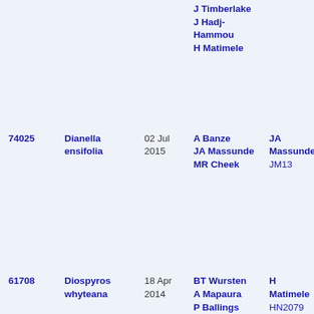| ID | Species | Date | Collectors | Determiner | ... |
| --- | --- | --- | --- | --- | --- |
|  |  |  | J Timberlake
J Hadj-Hammou
H Matimele |  | J Os... |
| 74025 | Dianella ensifolia | 02 Jul 2015 | A Banze
JA Massunde
MR Cheek | JA Massunde
JM13 | J Os... |
| 61708 | Diospyros whyteana | 18 Apr 2014 | BT Wursten
A Mapaura
P Ballings
J Timberlake
J Hadj-Hammou
H Matimele | H Matimele
HN2079 | J Os... |
| 98341 | Emilia discifolia | 02 Jul 2015 | A Banze | A Banze
265 | J Os... |